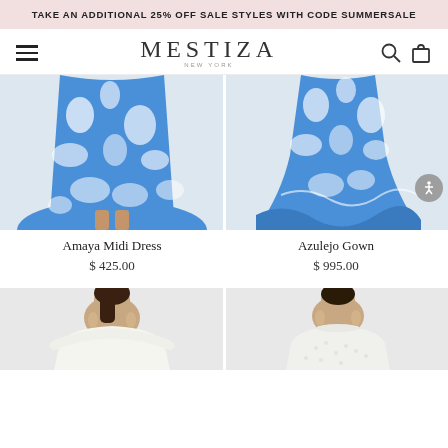TAKE AN ADDITIONAL 25% OFF SALE STYLES WITH CODE SUMMERSALE
[Figure (logo): Mestiza New York logo with hamburger menu, search icon, and bag icon navigation bar]
[Figure (photo): Close-up of a model wearing the Amaya Midi Dress in blue and white floral print, showing from waist down]
[Figure (photo): Close-up of a model wearing the Azulejo Gown in blue and white floral print, showing from waist down with ruffled hem]
Amaya Midi Dress
$ 425.00
Azulejo Gown
$ 995.00
[Figure (photo): Partial view of model wearing a white off-shoulder dress, cropped at top]
[Figure (photo): Partial view of model wearing a white lace dress, cropped at top]